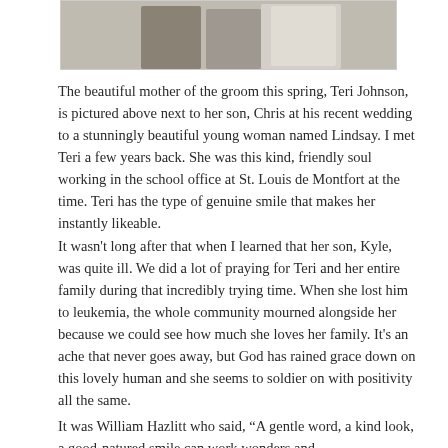[Figure (photo): A cropped wedding photo showing people in formal attire including a woman in a suit and someone in a white wedding dress.]
The beautiful mother of the groom this spring, Teri Johnson, is pictured above next to her son, Chris at his recent wedding to a stunningly beautiful young woman named Lindsay. I met Teri a few years back. She was this kind, friendly soul working in the school office at St. Louis de Montfort at the time. Teri has the type of genuine smile that makes her instantly likeable.
It wasn't long after that when I learned that her son, Kyle, was quite ill. We did a lot of praying for Teri and her entire family during that incredibly trying time. When she lost him to leukemia, the whole community mourned alongside her because we could see how much she loves her family. It's an ache that never goes away, but God has rained grace down on this lovely human and she seems to soldier on with positivity all the same.
It was William Hazlitt who said, “A gentle word, a kind look, a good-natured smile can work wonders and